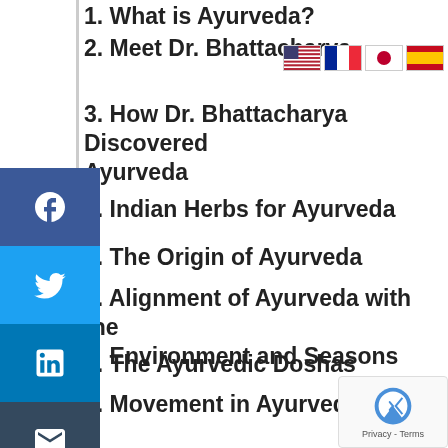1. What is Ayurveda?
2. Meet Dr. Bhattacharya
3. How Dr. Bhattacharya Discovered Ayurveda
4. Indian Herbs for Ayurveda
5. The Origin of Ayurveda
6. Alignment of Ayurveda with the Environment and Seasons
7. The Ayurvedic Doshas
8. Movement in Ayurveda
9. Ayuveda Dosha: Vata
10. Transformation in Ayurveda
11. Rebalancing With Herbs
12. Ayuveda Dosha: Kapha
13. Basic Philosophy of Ayurveda
[Figure (screenshot): Social media share sidebar with Facebook, Twitter, LinkedIn, Email, and Print buttons]